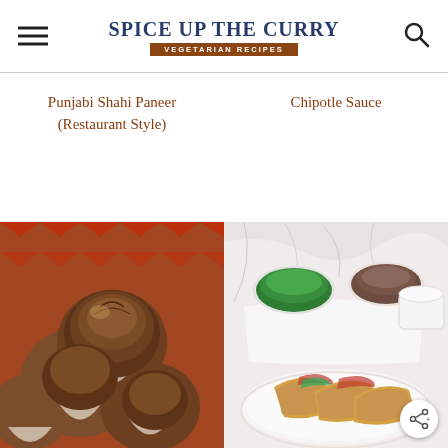Spice Up The Curry — Vegetarian Recipes
Punjabi Shahi Paneer (Restaurant Style)
Chipotle Sauce
[Figure (photo): Overhead photo of baked muffins in paper cupcake liners arranged in a woven basket with a decorative cloth]
[Figure (photo): Photo of vegetable wraps/kathi rolls on a white plate with bowls of green chutney, brown sauce, and white sauce on a marble surface]